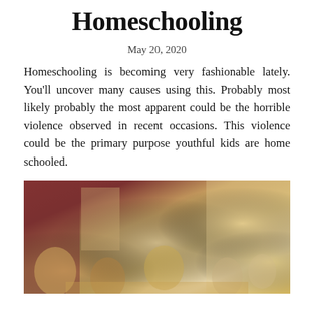Homeschooling
May 20, 2020
Homeschooling is becoming very fashionable lately. You'll uncover many causes using this. Probably most likely probably the most apparent could be the horrible violence observed in recent occasions. This violence could be the primary purpose youthful kids are home schooled.
[Figure (photo): A family homeschooling scene around a dining table in a home kitchen/dining room area, with children studying and an adult supervising.]